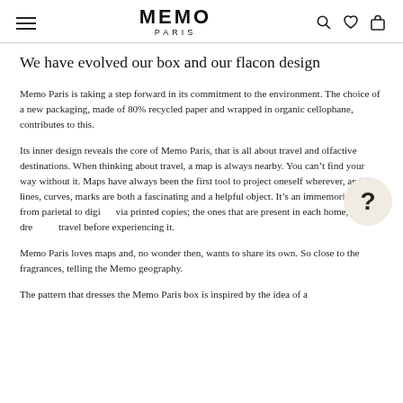MEMO PARIS
We have evolved our box and our flacon design
Memo Paris is taking a step forward in its commitment to the environment. The choice of a new packaging, made of 80% recycled paper and wrapped in organic cellophane, contributes to this.
Its inner design reveals the core of Memo Paris, that is all about travel and olfactive destinations. When thinking about travel, a map is always nearby. You can't find your way without it. Maps have always been the first tool to project oneself wherever, and its lines, curves, marks are both a fascinating and a helpful object. It's an immemorial form, from parietal to digital, via printed copies; the ones that are present in each home, to dream of travel before experiencing it.
Memo Paris loves maps and, no wonder then, wants to share its own. So close to the fragrances, telling the Memo geography.
The pattern that dresses the Memo Paris box is inspired by the idea of a